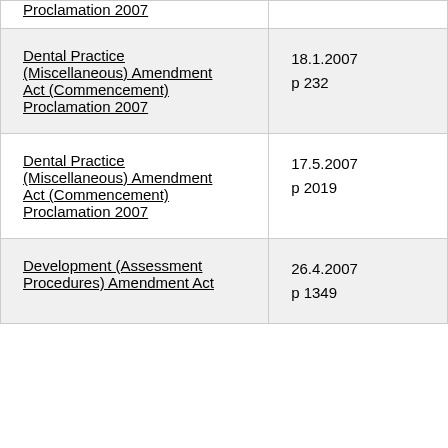| Proclamation 2007 |  |
| Dental Practice (Miscellaneous) Amendment Act (Commencement) Proclamation 2007 | 18.1.2007
p 232 |
| Dental Practice (Miscellaneous) Amendment Act (Commencement) Proclamation 2007 | 17.5.2007
p 2019 |
| Development (Assessment Procedures) Amendment Act | 26.4.2007
p 1349 |